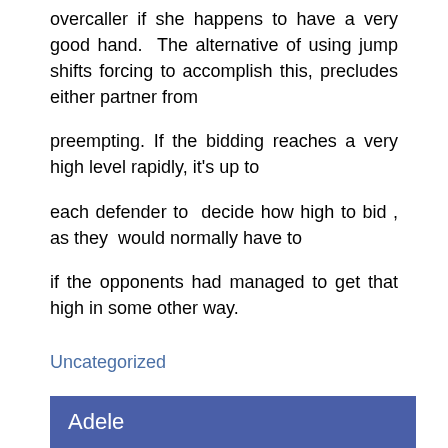overcaller if she happens to have a very good hand.  The alternative of using jump shifts forcing to accomplish this, precludes either partner from

preempting. If the bidding reaches a very high level rapidly, it's up to

each defender to  decide how high to bid , as they  would normally have to

if the opponents had managed to get that high in some other way.
Uncategorized
Adele